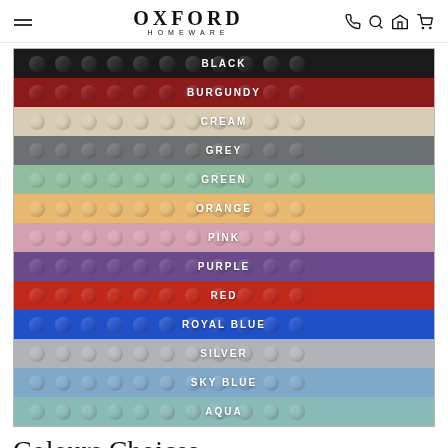OXFORD HOMEWARE
[Figure (infographic): Color swatch chart showing 13 color options as horizontal bands, each labeled with the color name in white uppercase text. Colors listed: BLACK, BURGUNDY, CREAM, GREY, GREEN, ORANGE, PINK, PURPLE, RED, ROYAL BLUE, SILVER, SKY BLUE, AQUA.]
Colours Choices